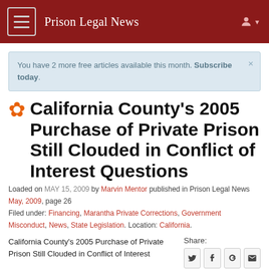Prison Legal News
You have 2 more free articles available this month. Subscribe today.
California County's 2005 Purchase of Private Prison Still Clouded in Conflict of Interest Questions
Loaded on MAY 15, 2009 by Marvin Mentor published in Prison Legal News May, 2009, page 26
Filed under: Financing, Marantha Private Corrections, Government Misconduct, News, State Legislation. Location: California.
California County's 2005 Purchase of Private Prison Still Clouded in Conflict of Interest